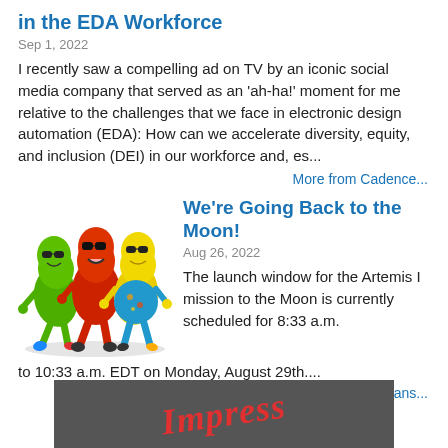in the EDA Workforce
Sep 1, 2022
I recently saw a compelling ad on TV by an iconic social media company that served as an 'ah-ha!' moment for me relative to the challenges that we face in electronic design automation (EDA): How can we accelerate diversity, equity, and inclusion (DEI) in our workforce and, es...
More from Cadence...
We're Going Back to the Moon!
Aug 26, 2022
The launch window for the Artemis I mission to the Moon is currently scheduled for 8:33 a.m. to 10:33 a.m. EDT on Monday, August 29th....
More from Max's Cool Beans...
[Figure (illustration): Three cartoon jelly bean characters wearing sunglasses walking together - green, red, and yellow colored beans]
[Figure (photo): Dark gray/chalkboard background with red italic text reading 'Impress']